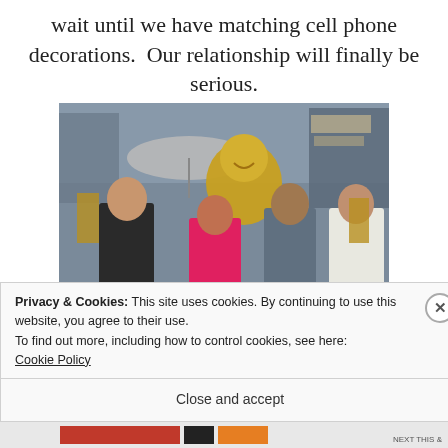wait until we have matching cell phone decorations.  Our relationship will finally be serious.
[Figure (photo): Four people posing in front of large golden Buddha statues at an outdoor market or street shop. From left: an older man in a dark jacket, a woman in a pink jacket, a young man in a gray jacket, and a young woman in a white coat. A large umbrella is visible in the background along with shop fronts.]
Privacy & Cookies: This site uses cookies. By continuing to use this website, you agree to their use.
To find out more, including how to control cookies, see here:
Cookie Policy
Close and accept